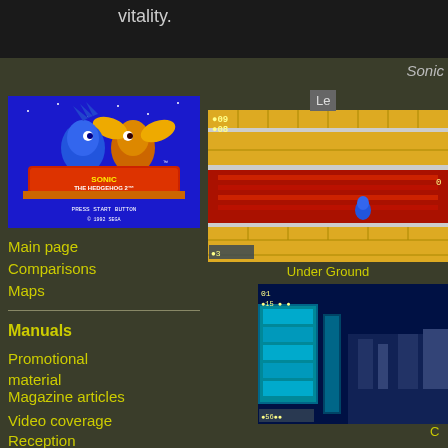vitality.
Sonic
Le
[Figure (screenshot): Sonic the Hedgehog 2 title screen showing Sonic and Tails with 'PRESS START BUTTON' and '© 1992 SEGA' text on blue background]
Main page
Comparisons
Maps
Manuals
Promotional material
Magazine articles
Video coverage
Reception
[Figure (screenshot): Sonic the Hedgehog gameplay screenshot showing Underground Zone with timer 09/08, red lava area, Sonic character, and score display]
Under Ground
[Figure (screenshot): Sonic the Hedgehog gameplay screenshot showing a blue/cyan level with timer 01 and score 15, Sonic character visible]